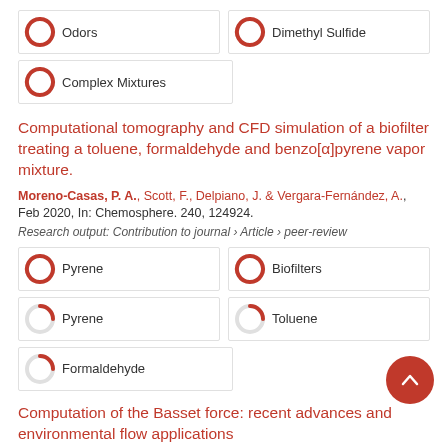[Figure (infographic): Keyword badge: Odors with red donut icon ~100%]
[Figure (infographic): Keyword badge: Dimethyl Sulfide with red donut icon ~100%]
[Figure (infographic): Keyword badge: Complex Mixtures with red donut icon ~100%]
Computational tomography and CFD simulation of a biofilter treating a toluene, formaldehyde and benzo[α]pyrene vapor mixture.
Moreno-Casas, P. A., Scott, F., Delpiano, J. & Vergara-Fernández, A., Feb 2020, In: Chemosphere. 240, 124924.
Research output: Contribution to journal › Article › peer-review
[Figure (infographic): Keyword badge: Pyrene with red donut icon ~100%]
[Figure (infographic): Keyword badge: Biofilters with red donut icon ~100%]
[Figure (infographic): Keyword badge: Pyrene with red donut icon ~80%]
[Figure (infographic): Keyword badge: Toluene with red donut icon ~80%]
[Figure (infographic): Keyword badge: Formaldehyde with red donut icon ~80%]
Computation of the Basset force: recent advances and environmental flow applications
Moreno-Casas, P. A. & Bombardelli, F. A., 1 Feb 2016, In: